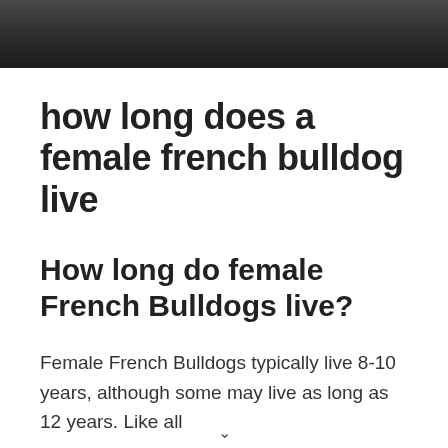[Figure (photo): Close-up photo of a French Bulldog, showing dark fur, top portion of the image cropped]
how long does a female french bulldog live
How long do female French Bulldogs live?
Female French Bulldogs typically live 8-10 years, although some may live as long as 12 years. Like all